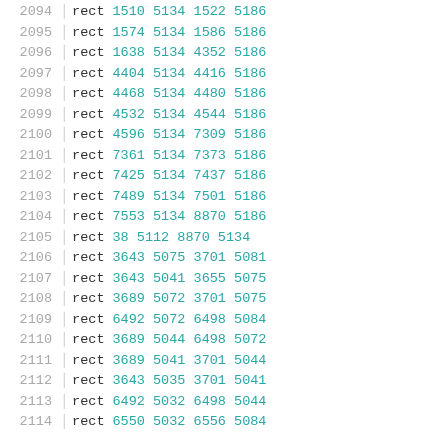| line | cmd | n1 | n2 | n3 | n4 |
| --- | --- | --- | --- | --- | --- |
| 2094 | rect | 1510 | 5134 | 1522 | 5186 |
| 2095 | rect | 1574 | 5134 | 1586 | 5186 |
| 2096 | rect | 1638 | 5134 | 4352 | 5186 |
| 2097 | rect | 4404 | 5134 | 4416 | 5186 |
| 2098 | rect | 4468 | 5134 | 4480 | 5186 |
| 2099 | rect | 4532 | 5134 | 4544 | 5186 |
| 2100 | rect | 4596 | 5134 | 7309 | 5186 |
| 2101 | rect | 7361 | 5134 | 7373 | 5186 |
| 2102 | rect | 7425 | 5134 | 7437 | 5186 |
| 2103 | rect | 7489 | 5134 | 7501 | 5186 |
| 2104 | rect | 7553 | 5134 | 8870 | 5186 |
| 2105 | rect | 38 | 5112 | 8870 | 5134 |
| 2106 | rect | 3643 | 5075 | 3701 | 5081 |
| 2107 | rect | 3643 | 5041 | 3655 | 5075 |
| 2108 | rect | 3689 | 5072 | 3701 | 5075 |
| 2109 | rect | 6492 | 5072 | 6498 | 5084 |
| 2110 | rect | 3689 | 5044 | 6498 | 5072 |
| 2111 | rect | 3689 | 5041 | 3701 | 5044 |
| 2112 | rect | 3643 | 5035 | 3701 | 5041 |
| 2113 | rect | 6492 | 5032 | 6498 | 5044 |
| 2114 | rect | 6550 | 5032 | 6556 | 5084 |